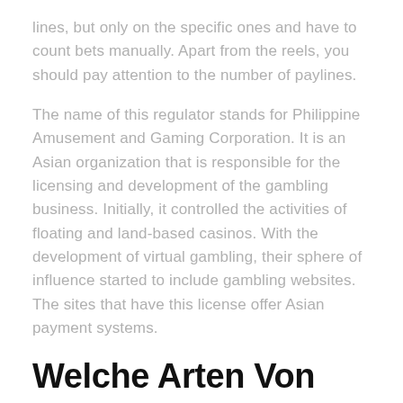lines, but only on the specific ones and have to count bets manually. Apart from the reels, you should pay attention to the number of paylines.
The name of this regulator stands for Philippine Amusement and Gaming Corporation. It is an Asian organization that is responsible for the licensing and development of the gambling business. Initially, it controlled the activities of floating and land-based casinos. With the development of virtual gambling, their sphere of influence started to include gambling websites. The sites that have this license offer Asian payment systems.
Welche Arten Von Casinospielen Gibt Es Eigentlich?